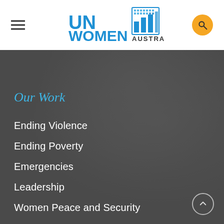[Figure (logo): UN Women Australia logo — blue text 'UN WOMEN' with stylized grid icon, and 'AUSTRALIA' below]
Our Work
Ending Violence
Ending Poverty
Emergencies
Leadership
Women Peace and Security
LGBTQI + Rights
Marriage Equality